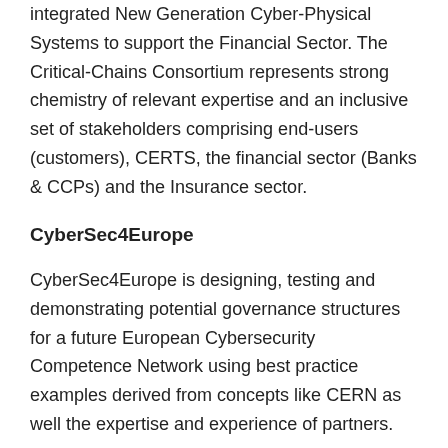integrated New Generation Cyber-Physical Systems to support the Financial Sector. The Critical-Chains Consortium represents strong chemistry of relevant expertise and an inclusive set of stakeholders comprising end-users (customers), CERTS, the financial sector (Banks & CCPs) and the Insurance sector.
CyberSec4Europe
CyberSec4Europe is designing, testing and demonstrating potential governance structures for a future European Cybersecurity Competence Network using best practice examples derived from concepts like CERN as well the expertise and experience of partners.
CyberSec4Europe is working towards harmonising the journey from the development of software components that fit the requirements identified by a set of short-, and